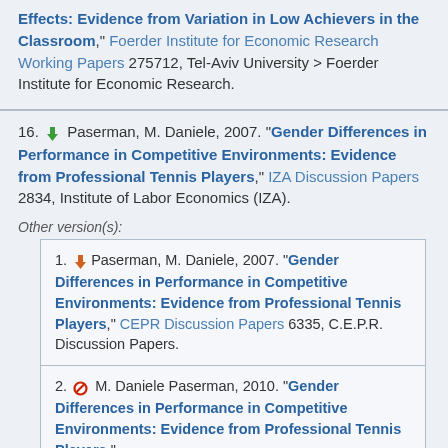Effects: Evidence from Variation in Low Achievers in the Classroom," Foerder Institute for Economic Research Working Papers 275712, Tel-Aviv University > Foerder Institute for Economic Research.
16. Paserman, M. Daniele, 2007. "Gender Differences in Performance in Competitive Environments: Evidence from Professional Tennis Players," IZA Discussion Papers 2834, Institute of Labor Economics (IZA). Other version(s): 1. Paserman, M. Daniele, 2007. "Gender Differences in Performance in Competitive Environments: Evidence from Professional Tennis Players," CEPR Discussion Papers 6335, C.E.P.R. Discussion Papers. 2. M. Daniele Paserman, 2010. "Gender Differences in Performance in Competitive Environments: Evidence from Professional Tennis Players," ...